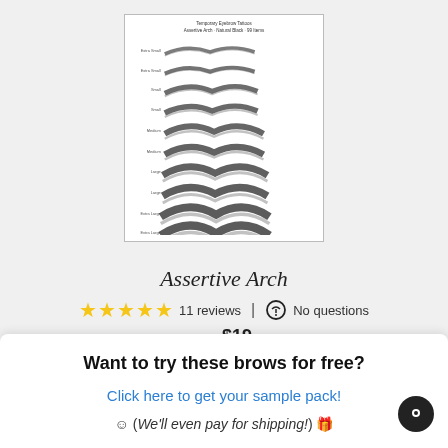[Figure (illustration): A product card showing multiple pairs of eyebrow styles labeled by size (Extra Small, Small, Medium, Large, Extra Large, etc.) with title 'Temporary Eyebrow Tattoos - Assertive Arch - Natural Black - 99 items']
Assertive Arch
11 reviews | No questions
— $19
Want to try these brows for free?
Click here to get your sample pack!
☺ (We'll even pay for shipping!) 🎁